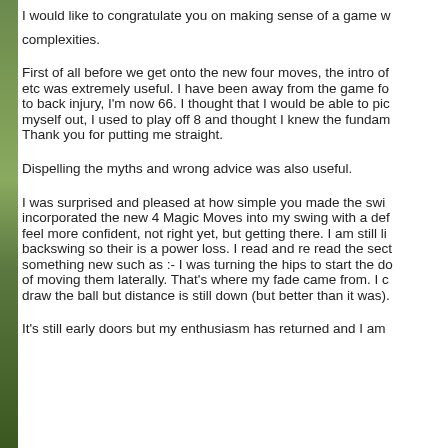I would like to congratulate you on making sense of a game w... complexities.
First of all before we get onto the new four moves, the intro of etc was extremely useful. I have been away from the game fo... to back injury, I'm now 66. I thought that I would be able to pic... myself out, I used to play off 8 and thought I knew the fundam... Thank you for putting me straight.
Dispelling the myths and wrong advice was also useful.
I was surprised and pleased at how simple you made the swi... incorporated the new 4 Magic Moves into my swing with a def... feel more confident, not right yet, but getting there. I am still li... backswing so their is a power loss. I read and re read the sect... something new such as :- I was turning the hips to start the do... of moving them laterally. That's where my fade came from. I c... draw the ball but distance is still down (but better than it was).
It's still early doors but my enthusiasm has returned and I am...